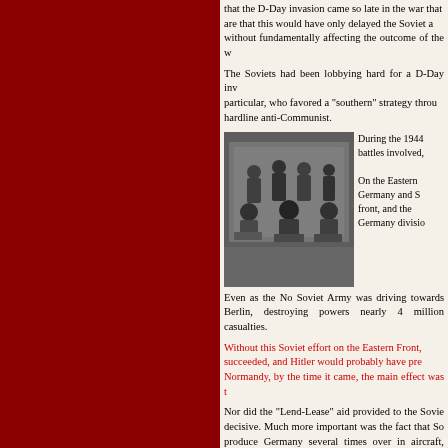that the D-Day invasion came so late in the war that ... are that this would have only delayed the Soviet a... without fundamentally affecting the outcome of the w...
The Soviets had been lobbying hard for a D-Day inv... particular, who favored a "southern" strategy throu... hardline anti-Communist.
[Figure (photo): Black and white photograph of the Yalta Conference showing Churchill, Roosevelt, and Stalin seated with military officers standing behind them.]
During the 1944 ... battles involved,
On the Eastern ... Germany and S... front, and the ... Germany divisio...
Even as the No... Soviet Army was driving towards Berlin, destroying... powers nearly 4 million casualties.
Without this Soviet effort on the Eastern Front, ... succeeded, and Hitler would probably have pre... Normandy, by the time it came, the main effect was t...
Nor did the “Lend-Lease” aid provided to the Sovie... decisive. Much more important was the fact that So... produce Germany several times over in aircraft, tank...
Despite all this, the commemoration speeches giv... mention the Soviet contribution to the war effort. .
>Strategic Performance – Japan. As for the war...